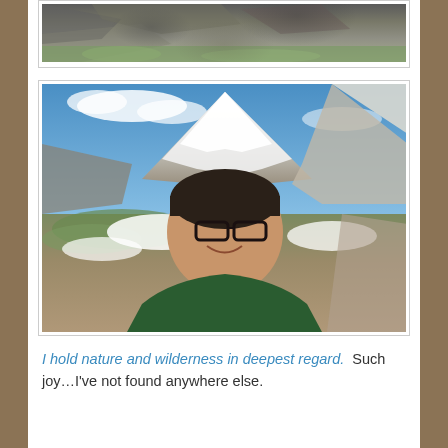[Figure (photo): Partial view of a rocky mountain/scree slope landscape, cropped at top of page]
[Figure (photo): Selfie of a smiling older woman with short dark hair and glasses, wearing a dark green jacket, standing in front of a dramatic snow-capped mountain landscape with blue sky and clouds]
I hold nature and wilderness in deepest regard.  Such joy…I've not found anywhere else.